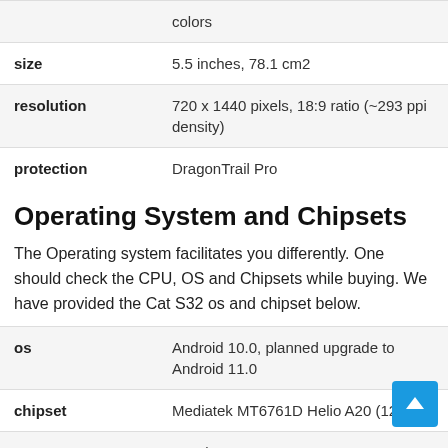| colors |  |
| size | 5.5 inches, 78.1 cm2 |
| resolution | 720 x 1440 pixels, 18:9 ratio (~293 ppi density) |
| protection | DragonTrail Pro |
Operating System and Chipsets
The Operating system facilitates you differently. One should check the CPU, OS and Chipsets while buying. We have provided the Cat S32 os and chipset below.
| os | Android 10.0, planned upgrade to Android 11.0 |
| chipset | Mediatek MT6761D Helio A20 (12 nm) |
| cpu | Quad-core 1.8 GHz Cortex-A53 |